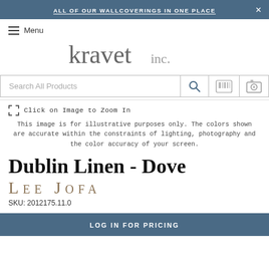ALL OF OUR WALLCOVERINGS IN ONE PLACE
Menu
[Figure (logo): Kravet Inc. logo in grey serif font]
Search All Products
Click on Image to Zoom In
This image is for illustrative purposes only. The colors shown are accurate within the constraints of lighting, photography and the color accuracy of your screen.
Dublin Linen - Dove
LEE JOFA
SKU: 2012175.11.0
LOG IN FOR PRICING